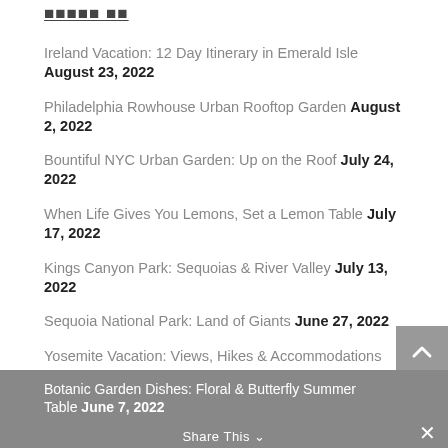Ireland Vacation: 12 Day Itinerary in Emerald Isle August 23, 2022
Philadelphia Rowhouse Urban Rooftop Garden August 2, 2022
Bountiful NYC Urban Garden: Up on the Roof July 24, 2022
When Life Gives You Lemons, Set a Lemon Table July 17, 2022
Kings Canyon Park: Sequoias & River Valley July 13, 2022
Sequoia National Park: Land of Giants June 27, 2022
Yosemite Vacation: Views, Hikes & Accommodations June 22, 2022
Botanic Garden Dishes: Floral & Butterfly Summer Table June 7, 2022
Share This ×